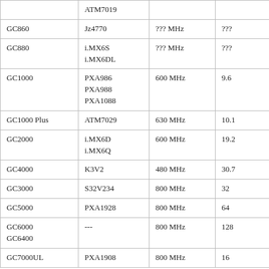|  | ATM7019 |  |  |
| GC860 | Jz4770 | ??? MHz | ??? |
| GC880 | i.MX6S
i.MX6DL | ??? MHz | ??? |
| GC1000 | PXA986
PXA988
PXA1088 | 600 MHz | 9.6 |
| GC1000 Plus | ATM7029 | 630 MHz | 10.1 |
| GC2000 | i.MX6D
i.MX6Q | 600 MHz | 19.2 |
| GC4000 | K3V2 | 480 MHz | 30.7 |
| GC3000 | S32V234 | 800 MHz | 32 |
| GC5000 | PXA1928 | 800 MHz | 64 |
| GC6000
GC6400 | --- | 800 MHz | 128 |
| GC7000UL | PXA1908 | 800 MHz | 16 |